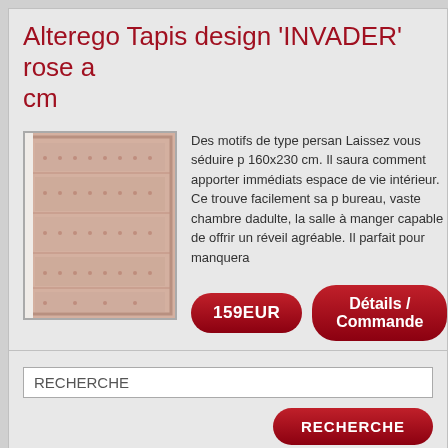Alterego Tapis design 'INVADER' rose a cm
[Figure (photo): A pink/beige patterned rug with Persian-style motifs, rectangular, shown flat from above.]
Des motifs de type persan Laissez vous séduire p 160x230 cm. Il saura comment apporter immédiats espace de vie intérieur. Ce trouve facilement sa p bureau, vaste chambre dadulte, la salle à manger capable de offrir un réveil agréable. Il parfait pour manquera
159EUR
Détails / Commande
RECHERCHE
RECHERCHE